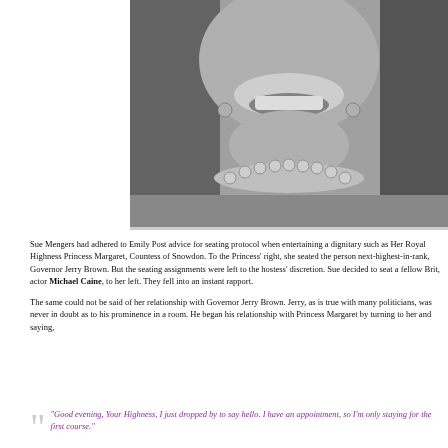[Figure (photo): Black and white halftone photograph showing the lower face, neck and upper chest of a woman smiling, wearing a pearl necklace.]
Sue Mengers had adhered to Emily Post advice for seating protocol when entertaining a dignitary such as Her Royal Highness Princess Margaret, Countess of Snowdon. To the Princess' right, she seated the person next-highest-in-rank, Governor Jerry Brown. But the seating assignments were left to the hostess' discretion. Sue decided to seat a fellow Brit, actor Michael Caine, to her left. They fell into an instant rapport.
The same could not be said of her relationship with Governor Jerry Brown. Jerry, as is true with many politicians, was never in doubt as to his prominence in a room. He began his relationship with Princess Margaret by turning to her and saying,
“Good evening, Your Highness, I just dropped by to say hello. I have an appointment, so I’m only staying for the first course.”